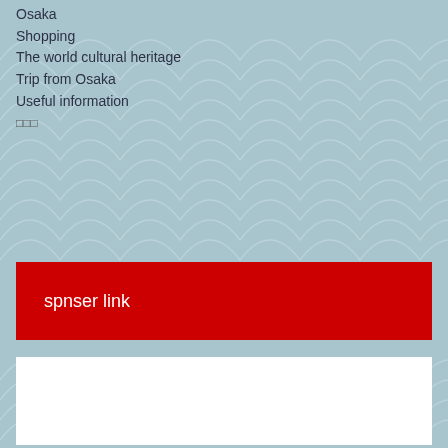Osaka
Shopping
The world cultural heritage
Trip from Osaka
Useful information
광고
spnser link
[Figure (other): White content area placeholder]